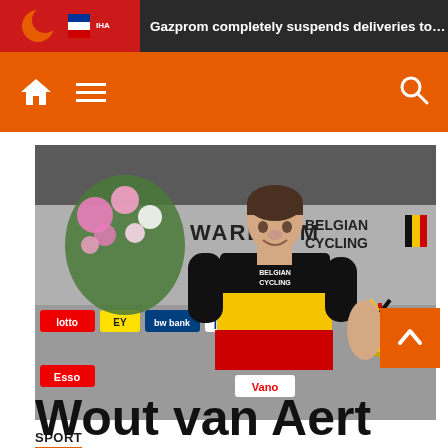Gazprom completely suspends deliveries to Engi or
[Figure (photo): Young male cyclist wearing Belgian national cycling jersey (black, yellow and red horizontal stripes) holding a gold medal and a bouquet of flowers at a podium ceremony in Waregem. Sponsor banners visible including EY, Esso, Vano, lotto, AG, Belgian Cycling.]
SPORT
Wout van Aert